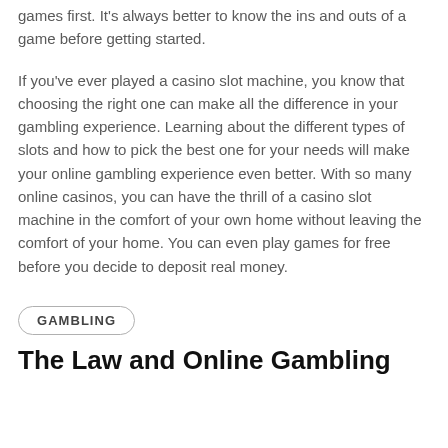games first. It's always better to know the ins and outs of a game before getting started.
If you've ever played a casino slot machine, you know that choosing the right one can make all the difference in your gambling experience. Learning about the different types of slots and how to pick the best one for your needs will make your online gambling experience even better. With so many online casinos, you can have the thrill of a casino slot machine in the comfort of your own home without leaving the comfort of your home. You can even play games for free before you decide to deposit real money.
GAMBLING
The Law and Online Gambling